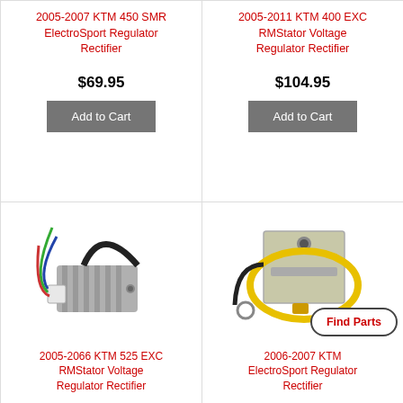2005-2007 KTM 450 SMR ElectroSport Regulator Rectifier
$69.95
Add to Cart
2005-2011 KTM 400 EXC RMStator Voltage Regulator Rectifier
$104.95
Add to Cart
[Figure (photo): Voltage regulator rectifier unit - gray finned aluminum component with colored wires]
2005-2066 KTM 525 EXC RMStator Voltage Regulator Rectifier
[Figure (photo): Square metallic voltage regulator rectifier with yellow and black wires]
2006-2007 KTM ElectroSport Regulator Rectifier
Find Parts